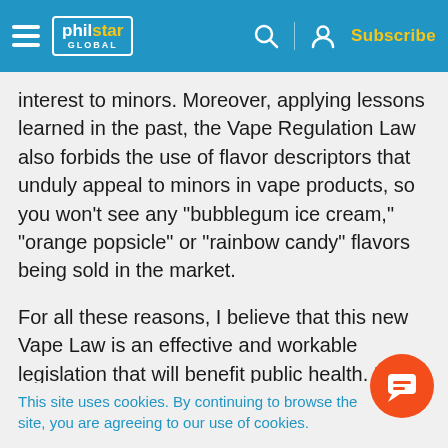philstar GLOBAL
interest to minors. Moreover, applying lessons learned in the past, the Vape Regulation Law also forbids the use of flavor descriptors that unduly appeal to minors in vape products, so you won't see any “bubblegum ice cream,” “orange popsicle” or “rainbow candy” flavors being sold in the market.
For all these reasons, I believe that this new Vape Law is an effective and workable legislation that will benefit public health. In my humble opinion, any moves to oppose it may burn us in the end, and r
This site uses cookies. By continuing to browse the site, you are agreeing to our use of cookies.